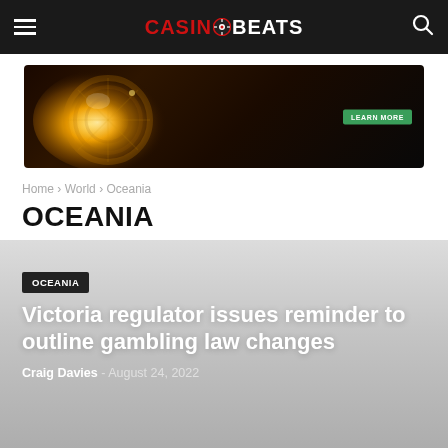CASINOBEATS
[Figure (photo): Advertisement banner with glowing golden roulette wheel on dark background with a green 'LEARN MORE' button]
Home > World > Oceania
OCEANIA
OCEANIA
Victoria regulator issues reminder to outline gambling law changes
Craig Davies - August 24, 2022